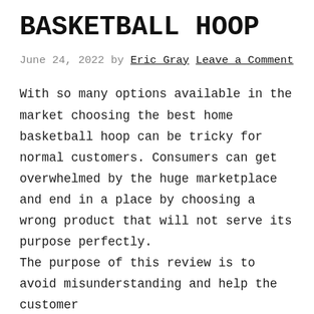BASKETBALL HOOP
June 24, 2022 by Eric Gray Leave a Comment
With so many options available in the market choosing the best home basketball hoop can be tricky for normal customers. Consumers can get overwhelmed by the huge marketplace and end in a place by choosing a wrong product that will not serve its purpose perfectly.
The purpose of this review is to avoid misunderstanding and help the customer